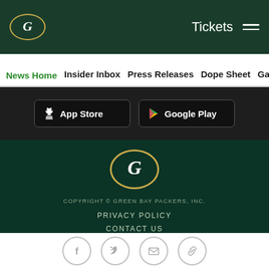Green Bay Packers header — Logo, Tickets, Menu
News Home | Insider Inbox | Press Releases | Dope Sheet | Game...
[Figure (screenshot): App Store and Google Play download buttons on dark background]
[Figure (logo): Green Bay Packers G logo oval on dark green background]
COPYRIGHT © GREEN BAY PACKERS, INC.
PRIVACY POLICY
CONTACT US
ACCESSIBILITY
SITE MAP
[Figure (infographic): Social media icons: Facebook, Twitter, Email, Link]